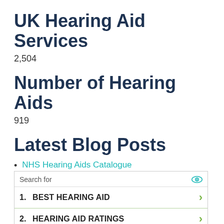UK Hearing Aid Services
2,504
Number of Hearing Aids
919
Latest Blog Posts
NHS Hearing Aids Catalogue
Can You Move Your Fingers, Hands &
[Figure (screenshot): Ad widget with search bar showing 'Search for' with eye icon, two rows: '1. BEST HEARING AID' and '2. HEARING AID RATINGS' each with a green chevron, and footer 'Ad | Glocal Search']